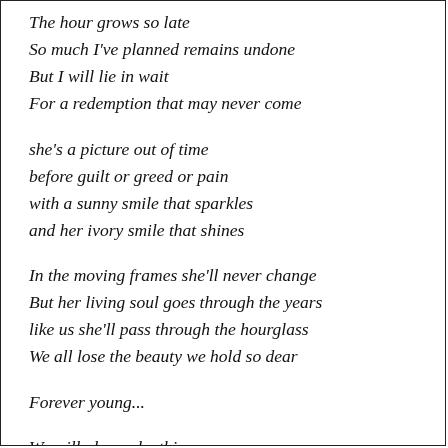The hour grows so late
So much I've planned remains undone
But I will lie in wait
For a redemption that may never come
she's a picture out of time
before guilt or greed or pain
with a sunny smile that sparkles
and her ivory smile that shines
In the moving frames she'll never change
But her living soul goes through the years
like us she'll pass through the hourglass
We all lose the beauty we hold so dear
Forever young...
We will always be this way
She has always just been one of us